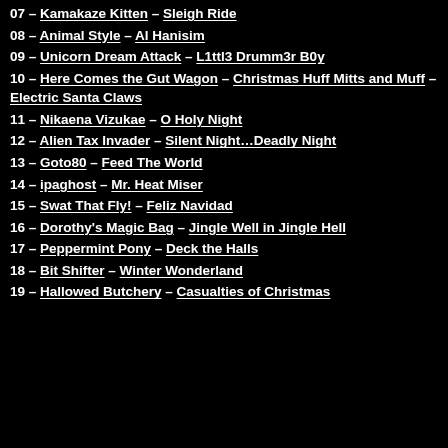07 – Kamakaze Kitten – Sleigh Ride
08 – Animal Style – Al Hanisim
09 – Unicorn Dream Attack – L1ttl3 Drumm3r B0y
10 – Here Comes the Gut Wagon – Christmas Huff Mitts and Muff – Electric Santa Claws
11 – Nikaena Vizukae – O Holy Night
12 – Alien Tax Invader – Silent Night…Deadly Night
13 – Goto80 – Feed The World
14 – ipaghost – Mr. Heat Miser
15 – Swat That Fly! – Feliz Navidad
16 – Dorothy's Magic Bag – Jingle Well in Jingle Hell
17 – Peppermint Pony – Deck the Halls
18 – Bit Shifter – Winter Wonderland
19 – Hallowed Butchery – Casualties of Christmas